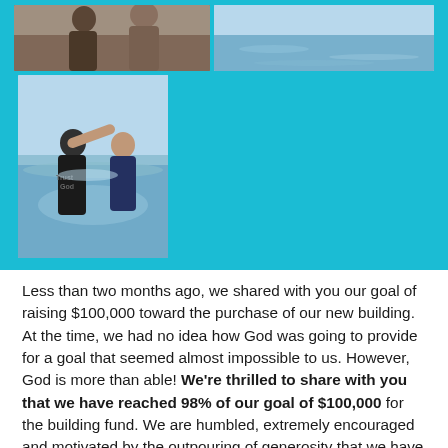[Figure (photo): Collage of four photos: top-left shows a person outdoors, top-right shows a water/ocean scene, bottom-left (large) shows a group of five people holding certificates outdoors near trees, bottom-right shows a baptism scene in water with two people.]
Less than two months ago, we shared with you our goal of raising $100,000 toward the purchase of our new building. At the time, we had no idea how God was going to provide for a goal that seemed almost impossible to us. However, God is more than able! We're thrilled to share with you that we have reached 98% of our goal of $100,000 for the building fund. We are humbled, extremely encouraged and motivated by the outpouring of generosity that we have seen from so many churches and individuals. Perhaps even this week we will